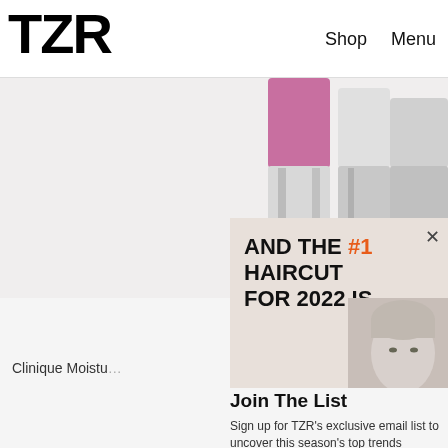TZR    Shop    Menu
[Figure (photo): Partial view of cosmetic product tubes (lipstick/mascara) with pink and silver coloring on a white/grey background]
[Figure (infographic): Advertisement banner: AND THE #1 HAIRCUT FOR 2022 IS... with a woman's face on the right side]
Clinique Moistu...
Join The List
Sign up for TZR's exclusive email list to uncover this season's top trends
Email address    Subscribe